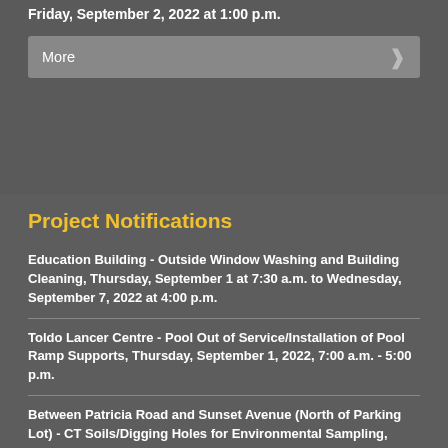Friday, September 2, 2022 at 1:00 p.m.
More
Project Notifications
Education Building - Outside Window Washing and Building Cleaning, Thursday, September 1 at 7:30 a.m. to Wednesday, September 7, 2022 at 4:00 p.m.
Toldo Lancer Centre - Pool Out of Service/Installation of Pool Ramp Supports, Thursday, September 1, 2022, 7:00 a.m. - 5:00 p.m.
Between Patricia Road and Sunset Avenue (North of Parking Lot) - CT Soils/Digging Holes for Environmental Sampling, Tuesday, August 30 2022, 8:00 a.m. - 5:00 p.m.
300 Ouellette Avenue Building - Outside Window Washing and Building Cleaning/Sidewalk at Front and